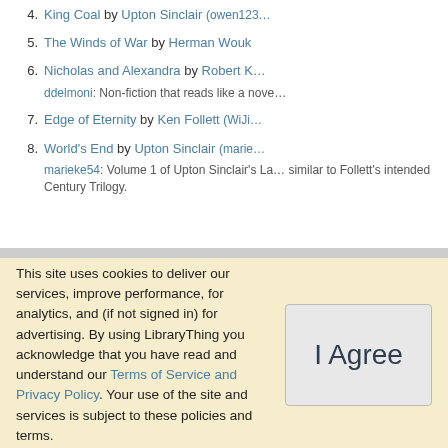4. King Coal by Upton Sinclair (owen123...)
5. The Winds of War by Herman Wouk
6. Nicholas and Alexandra by Robert K...
ddelmoni: Non-fiction that reads like a nove...
7. Edge of Eternity by Ken Follett (WiJi...)
8. World's End by Upton Sinclair (marie...)
marieke54: Volume 1 of Upton Sinclair's La... similar to Follett's intended Century Trilogy.
This site uses cookies to deliver our services, improve performance, for analytics, and (if not signed in) for advertising. By using LibraryThing you acknowledge that you have read and understand our Terms of Service and Privacy Policy. Your use of the site and services is subject to these policies and terms.